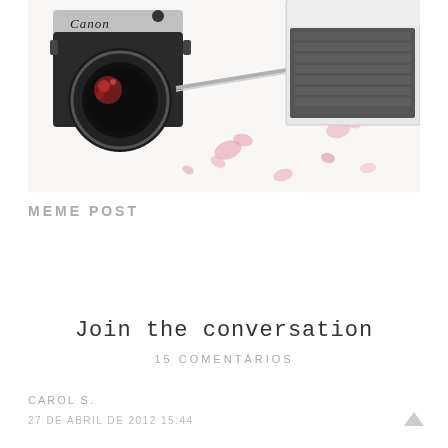[Figure (photo): Photo of a Canon film camera next to a laptop keyboard on a white surface with pink floral accents, with a pencil visible in the middle.]
MEME POST
Join the conversation
15 COMENTÁRIOS
CAROL S.
27 DE ABRIL DE 2012 15:44